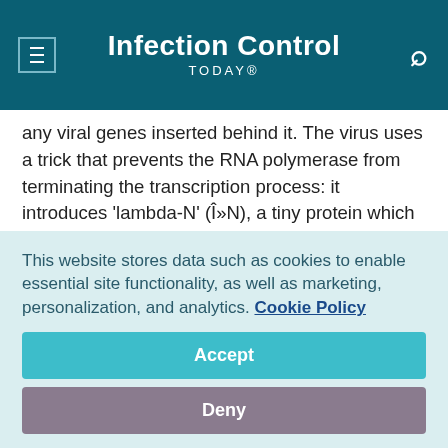Infection Control TODAY®
any viral genes inserted behind it. The virus uses a trick that prevents the RNA polymerase from terminating the transcription process: it introduces 'lambda-N' (λN), a tiny protein which attaches itself to the host's RNA polymerase and forces it to continue transcription of the viral genes. Until now, and despite intensive efforts, researchers had failed to identify how this tiny protein can achieve such a feat. A Berlin-based team of researchers has now been able to visualize the 3D structure of the RNA polymerase-λN-complex using high-
This website stores data such as cookies to enable essential site functionality, as well as marketing, personalization, and analytics. Cookie Policy
Accept
Deny